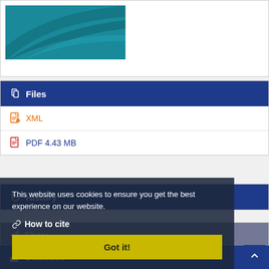[Figure (screenshot): Teal/dark teal background with curved arc design, representing a document cover image thumbnail]
Files
XML
PDF 4.43 MB
History
Share
This website uses cookies to ensure you get the best experience on our website.
How to cite
Statistics